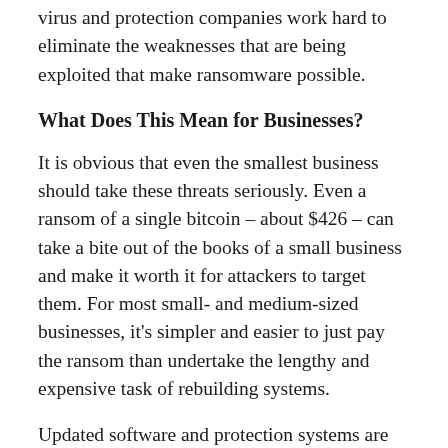virus and protection companies work hard to eliminate the weaknesses that are being exploited that make ransomware possible.
What Does This Mean for Businesses?
It is obvious that even the smallest business should take these threats seriously. Even a ransom of a single bitcoin – about $426 – can take a bite out of the books of a small business and make it worth it for attackers to target them. For most small- and medium-sized businesses, it's simpler and easier to just pay the ransom than undertake the lengthy and expensive task of rebuilding systems.
Updated software and protection systems are essential, but this is not news. What may be the key to keeping attacks like these at bay is changing the